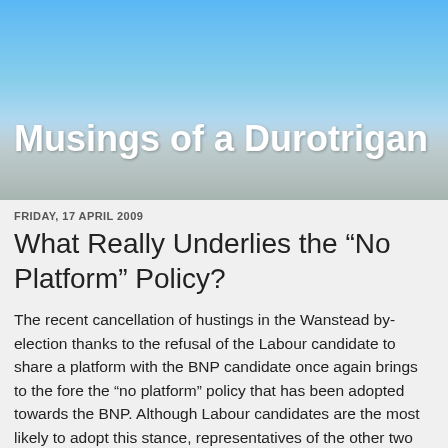[Figure (photo): Blog header image showing a sky with clouds and a blurred road/street scene with trees, serving as the background for the blog title 'Musings of a Durotrigan']
Musings of a Durotrigan
FRIDAY, 17 APRIL 2009
What Really Underlies the “No Platform” Policy?
The recent cancellation of hustings in the Wanstead by-election thanks to the refusal of the Labour candidate to share a platform with the BNP candidate once again brings to the fore the “no platform” policy that has been adopted towards the BNP. Although Labour candidates are the most likely to adopt this stance, representatives of the other two mainstream political parties frequently advocate and use this tactic. The “no platform” policy has also been officially adopted by the National Union of Students (NUS). Furthermore, whenever and wherever a public platform is afforded to BNP members, organisations such as Searchlight and UAF…